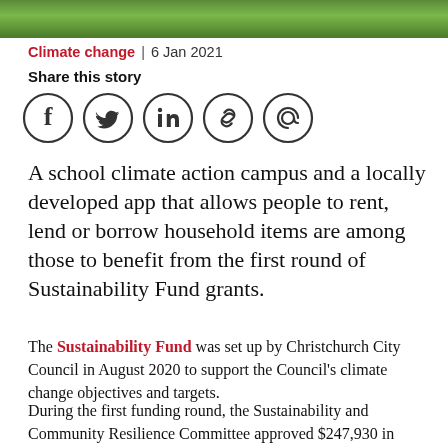[Figure (photo): Partial view of a plant or outdoor scene, cropped at the top of the page]
Climate change | 6 Jan 2021
Share this story
[Figure (other): Social media share icons: Facebook, Twitter, LinkedIn, Link, Email]
A school climate action campus and a locally developed app that allows people to rent, lend or borrow household items are among those to benefit from the first round of Sustainability Fund grants.
The Sustainability Fund was set up by Christchurch City Council in August 2020 to support the Council's climate change objectives and targets.
During the first funding round, the Sustainability and Community Resilience Committee approved $247,930 in funding for 19 proposals from community groups, schools, social enterprises and businesses that are working to reduce